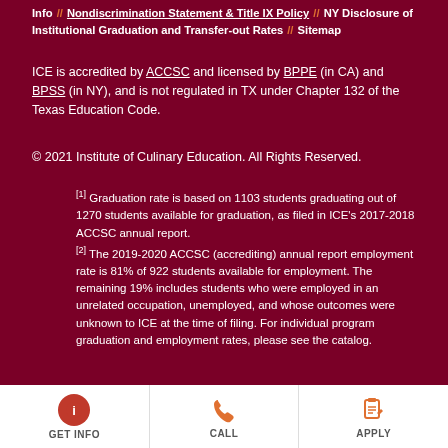Info // Nondiscrimination Statement & Title IX Policy // NY Disclosure of Institutional Graduation and Transfer-out Rates // Sitemap
ICE is accredited by ACCSC and licensed by BPPE (in CA) and BPSS (in NY), and is not regulated in TX under Chapter 132 of the Texas Education Code.
© 2021 Institute of Culinary Education. All Rights Reserved.
[1] Graduation rate is based on 1103 students graduating out of 1270 students available for graduation, as filed in ICE's 2017-2018 ACCSC annual report.
[2] The 2019-2020 ACCSC (accrediting) annual report employment rate is 81% of 922 students available for employment. The remaining 19% includes students who were employed in an unrelated occupation, unemployed, and whose outcomes were unknown to ICE at the time of filing. For individual program graduation and employment rates, please see the catalog.
GET INFO | CALL | APPLY